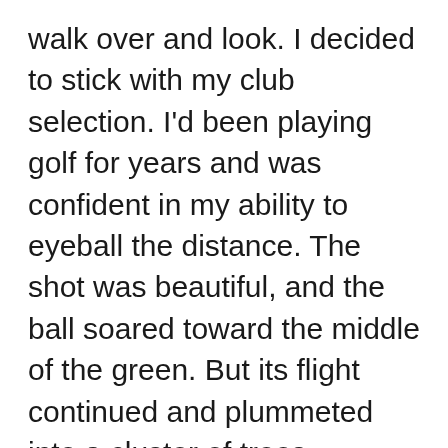walk over and look. I decided to stick with my club selection. I'd been playing golf for years and was confident in my ability to eyeball the distance. The shot was beautiful, and the ball soared toward the middle of the green. But its flight continued and plummeted into a cluster of trees.
Though my poor club choice was an insignificant decision in the